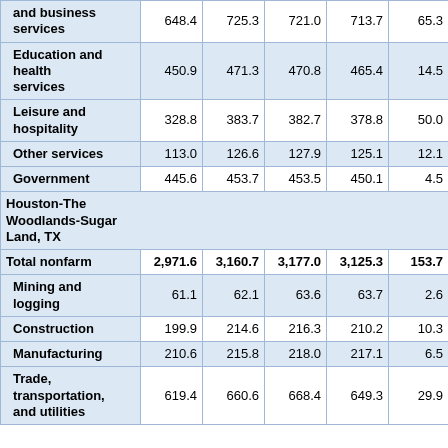| Industry | Col1 | Col2 | Col3 | Col4 | Col5 |
| --- | --- | --- | --- | --- | --- |
| and business services | 648.4 | 725.3 | 721.0 | 713.7 | 65.3 |
| Education and health services | 450.9 | 471.3 | 470.8 | 465.4 | 14.5 |
| Leisure and hospitality | 328.8 | 383.7 | 382.7 | 378.8 | 50.0 |
| Other services | 113.0 | 126.6 | 127.9 | 125.1 | 12.1 |
| Government | 445.6 | 453.7 | 453.5 | 450.1 | 4.5 |
| Houston-The Woodlands-Sugar Land, TX |  |  |  |  |  |
| Total nonfarm | 2,971.6 | 3,160.7 | 3,177.0 | 3,125.3 | 153.7 |
| Mining and logging | 61.1 | 62.1 | 63.6 | 63.7 | 2.6 |
| Construction | 199.9 | 214.6 | 216.3 | 210.2 | 10.3 |
| Manufacturing | 210.6 | 215.8 | 218.0 | 217.1 | 6.5 |
| Trade, transportation, and utilities | 619.4 | 660.6 | 668.4 | 649.3 | 29.9 |